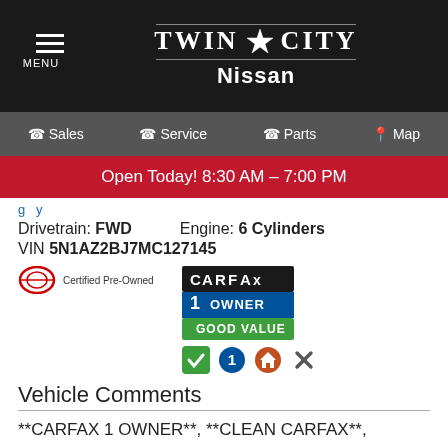[Figure (logo): Twin City Nissan dealership logo with menu icon on black header bar]
Sales | Service | Parts | Map navigation bar
Open Today! 8:30 AM – 7:00 PM
Drivetrain: FWD   Engine: 6 Cylinders
VIN 5N1AZ2BJ7MC127145
[Figure (logo): Nissan Certified Pre-Owned badge and CARFAX 1 Owner Good Value badge with icons]
Vehicle Comments
**CARFAX 1 OWNER**, **CLEAN CARFAX**, **KEYLESS ENTRY**, **BACKUP CAMERA**, **BLUETOOTH HANDS FREE**, ABS brakes, Air Conditioning, Alloy wheels, AM/FM/CD/MP3/WMA Audio System, Cloth